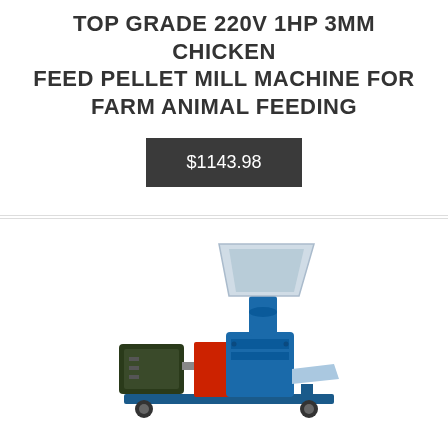TOP GRADE 220V 1HP 3MM CHICKEN FEED PELLET MILL MACHINE FOR FARM ANIMAL FEEDING
$1143.98
[Figure (photo): A blue and red chicken feed pellet mill machine with a transparent funnel hopper on top, an electric motor on the left side, a red coupling, and a discharge chute on the right, mounted on a blue metal frame with wheels.]